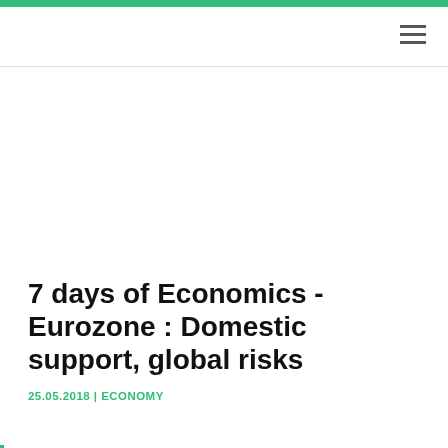7 days of Economics - Eurozone : Domestic support, global risks
25.05.2018 | ECONOMY
1. The ECB meeting account shows a central bank